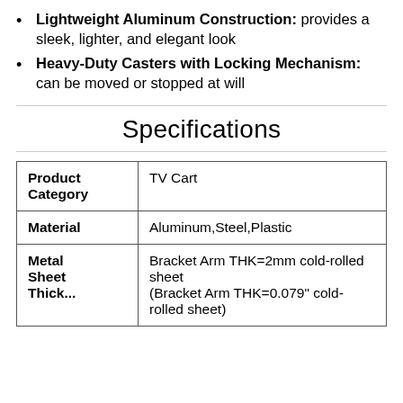Lightweight Aluminum Construction: provides a sleek, lighter, and elegant look
Heavy-Duty Casters with Locking Mechanism: can be moved or stopped at will
Specifications
|  |  |
| --- | --- |
| Product Category | TV Cart |
| Material | Aluminum,Steel,Plastic |
| Metal Sheet Thick... | Bracket Arm THK=2mm cold-rolled sheet (Bracket Arm THK=0.079" cold-rolled sheet) |